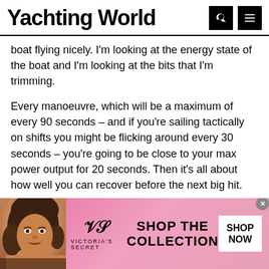Yachting World
boat flying nicely. I'm looking at the energy state of the boat and I'm looking at the bits that I'm trimming.
Every manoeuvre, which will be a maximum of every 90 seconds – and if you're sailing tactically on shifts you might be flicking around every 30 seconds – you're going to be close to your max power output for 20 seconds. Then it's all about how well you can recover before the next big hit.
[Figure (illustration): Victoria's Secret advertisement banner with a woman model, VS logo, 'SHOP THE COLLECTION' text, and a 'SHOP NOW' button on a pink background.]